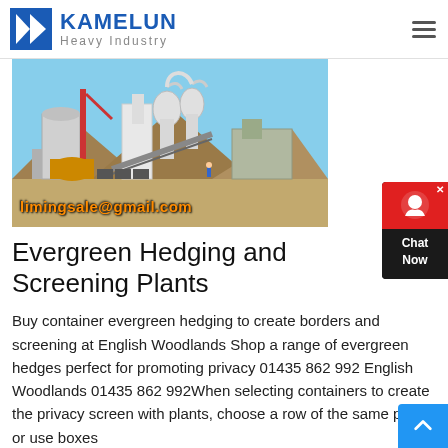KAMELUN Heavy Industry
[Figure (photo): Industrial grinding/milling plant with large silos, cyclone separators, conveyor belts and machinery at an outdoor site. Email overlay: limingsale@gmail.com]
Evergreen Hedging and Screening Plants
Buy container evergreen hedging to create borders and screening at English Woodlands Shop a range of evergreen hedges perfect for promoting privacy 01435 862 992 English Woodlands 01435 862 992When selecting containers to create the privacy screen with plants, choose a row of the same pots, or use boxes